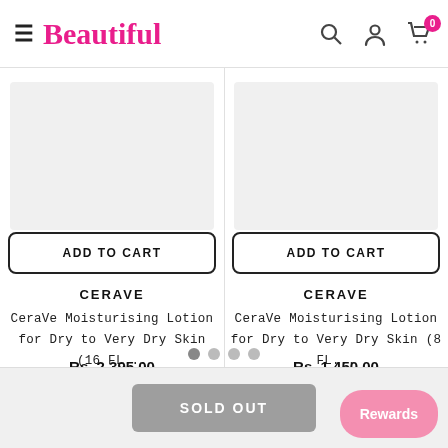Beautiful
[Figure (screenshot): E-commerce product listing page for 'Beautiful' beauty store showing two CeraVe moisturising lotion products with ADD TO CART buttons]
ADD TO CART
ADD TO CART
CERAVE
CeraVe Moisturising Lotion for Dry to Very Dry Skin (16 FL...
Rs. 2,395.00
CERAVE
CeraVe Moisturising Lotion for Dry to Very Dry Skin (8 FL...
Rs. 1,450.00
SOLD OUT
Rewards